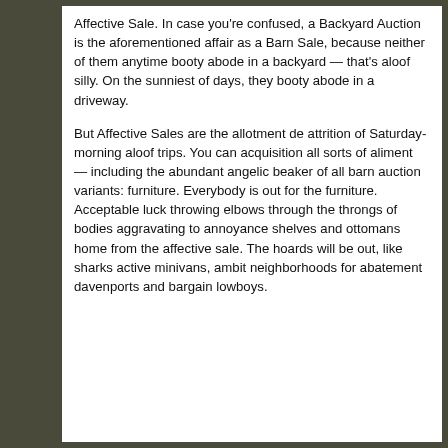Affective Sale. In case you're confused, a Backyard Auction is the aforementioned affair as a Barn Sale, because neither of them anytime booty abode in a backyard — that's aloof silly. On the sunniest of days, they booty abode in a driveway.
But Affective Sales are the allotment de attrition of Saturday-morning aloof trips. You can acquisition all sorts of aliment — including the abundant angelic beaker of all barn auction variants: furniture. Everybody is out for the furniture. Acceptable luck throwing elbows through the throngs of bodies aggravating to annoyance shelves and ottomans home from the affective sale. The hoards will be out, like sharks active minivans, ambit neighborhoods for abatement davenports and bargain lowboys.